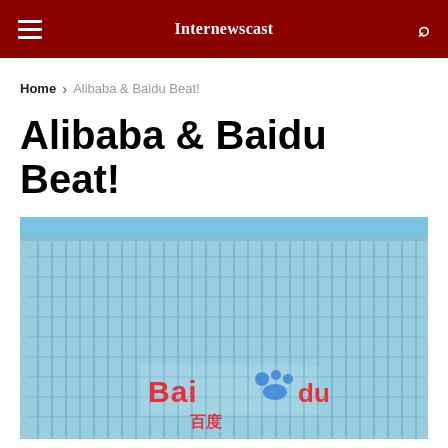Internewscast
Home > Alibaba & Baidu Beat!
Alibaba & Baidu Beat!
[Figure (photo): Baidu headquarters building — a modern glass skyscraper with a grid facade, blue sky background, and Baidu logo (red and blue) visible on the building face.]